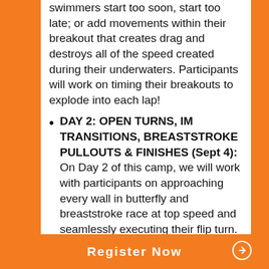swimmers start too soon, start too late; or add movements within their breakout that creates drag and destroys all of the speed created during their underwaters. Participants will work on timing their breakouts to explode into each lap!
DAY 2: OPEN TURNS, IM TRANSITIONS, BREASTSTROKE PULLOUTS & FINISHES (Sept 4): On Day 2 of this camp, we will work with participants on approaching every wall in butterfly and breaststroke race at top speed and seamlessly executing their flip turn.
Open Turns: Elite butterflyers and
Register Now